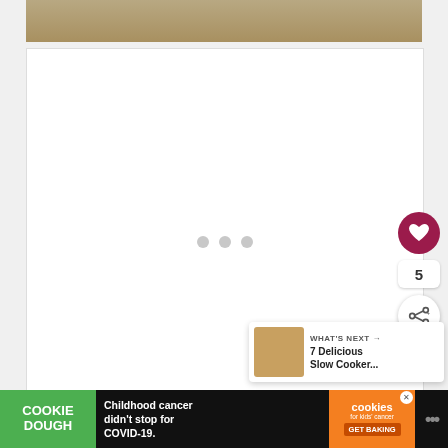[Figure (photo): Top portion of khaki/tan pants product image on white background]
[Figure (photo): White image carousel area with loading dots, heart/like button showing count of 5, and share button on right side]
WHAT'S NEXT → 7 Delicious Slow Cooker...
[Figure (photo): What's Next thumbnail showing food in slow cooker]
[Figure (infographic): Advertisement bar: COOKIE DOUGH | Childhood cancer didn't stop for COVID-19. | cookies for kids' cancer GET BAKING | brand logo]